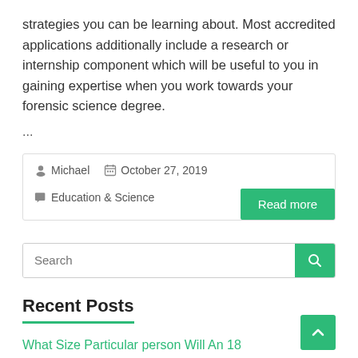strategies you can be learning about. Most accredited applications additionally include a research or internship component which will be useful to you in gaining expertise when you work towards your forensic science degree.
...
Michael   October 27, 2019   Education & Science
Read more
Search
Recent Posts
What Size Particular person Will An 18
A Guide To The World Financial institution